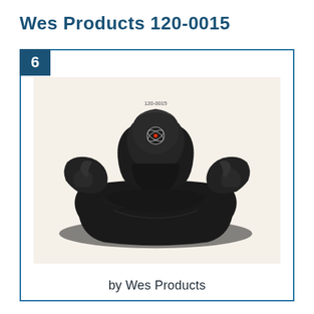Wes Products 120-0015
[Figure (photo): Black ATV/UTV rear trunk storage box product photo, model 120-0015, with Wes Products logo on the back panel. Product label '120-0015' visible above the item.]
by Wes Products